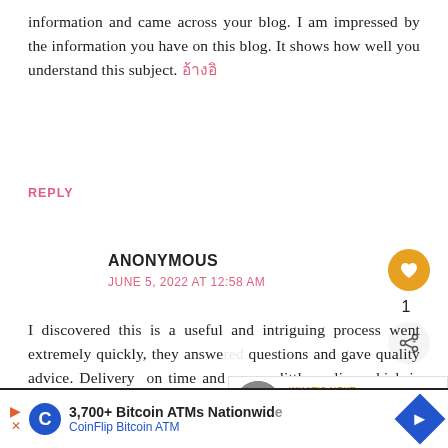information and came across your blog. I am impressed by the information you have on this blog. It shows how well you understand this subject. อ้างอิ
REPLY
ANONYMOUS
JUNE 5, 2022 AT 12:58 AM
I discovered this is a useful and intriguing process went extremely quickly, they answered questions and gave quality advice. Delivery on time and even a little earlier, which is very
WHAT'S NEXT → Retail Therapy for Winter...
3,700+ Bitcoin ATMs Nationwide CoinFlip Bitcoin ATM